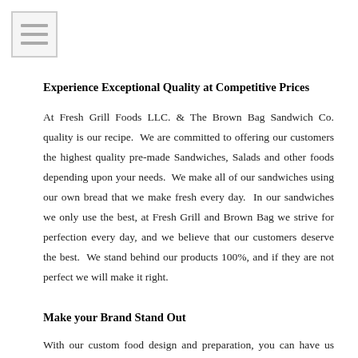[Figure (other): Hamburger/menu icon with three horizontal lines inside a light gray square box]
Experience Exceptional Quality at Competitive Prices
At Fresh Grill Foods LLC. & The Brown Bag Sandwich Co. quality is our recipe.  We are committed to offering our customers the highest quality pre-made Sandwiches, Salads and other foods depending upon your needs.  We make all of our sandwiches using our own bread that we make fresh every day.  In our sandwiches we only use the best, at Fresh Grill and Brown Bag we strive for perfection every day, and we believe that our customers deserve the best.  We stand behind our products 100%, and if they are not perfect we will make it right.
Make your Brand Stand Out
With our custom food design and preparation, you can have us make